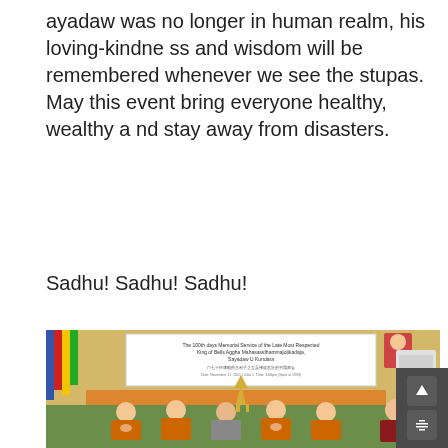ayadaw was no longer in human realm, his loving-kindness and wisdom will be remembered whenever we see the stupas. May this event bring everyone healthy, wealthy and stay away from disasters.
Sadhu! Sadhu! Sadhu!
[Figure (photo): Group of Buddhist monks in orange and maroon robes seated in prayer at a memorial service. A large banner in the background reads 'The 100th days Memorial Service of the Late Most Respected King of Bells Aggha Mahasasidhammajotikadaja, Sayadaw U Kundara' with Chinese text below. Flowers, stupas, and ceremonial items are visible on tables. Buddhist flags hang from the left side.]